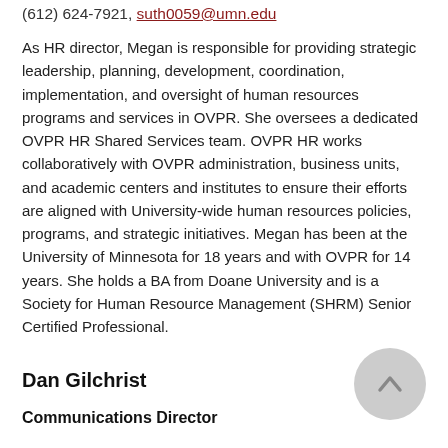(612) 624-7921, suth0059@umn.edu
As HR director, Megan is responsible for providing strategic leadership, planning, development, coordination, implementation, and oversight of human resources programs and services in OVPR. She oversees a dedicated OVPR HR Shared Services team. OVPR HR works collaboratively with OVPR administration, business units, and academic centers and institutes to ensure their efforts are aligned with University-wide human resources policies, programs, and strategic initiatives. Megan has been at the University of Minnesota for 18 years and with OVPR for 14 years. She holds a BA from Doane University and is a Society for Human Resource Management (SHRM) Senior Certified Professional.
Dan Gilchrist
Communications Director